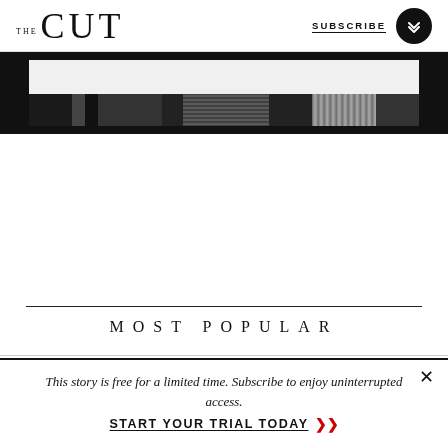THE CUT | SUBSCRIBE
[Figure (photo): Partial black and white photo strip with dark borders, showing cropped image content]
MOST POPULAR
1. Madame Clairevoyant: Horoscopes for the
This story is free for a limited time. Subscribe to enjoy uninterrupted access. START YOUR TRIAL TODAY >>